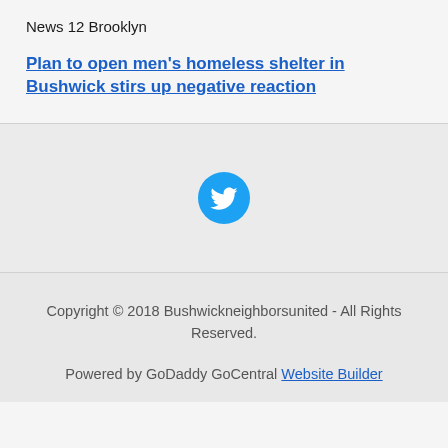News 12 Brooklyn
Plan to open men's homeless shelter in Bushwick stirs up negative reaction
[Figure (logo): Twitter bird logo icon — white bird on blue circle background]
Copyright © 2018 Bushwickneighborsunited - All Rights Reserved.
Powered by GoDaddy GoCentral Website Builder